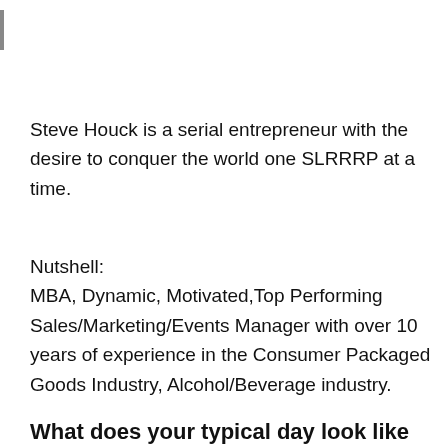Steve Houck is a serial entrepreneur with the desire to conquer the world one SLRRRP at a time.
Nutshell:
MBA, Dynamic, Motivated,Top Performing Sales/Marketing/Events Manager with over 10 years of experience in the Consumer Packaged Goods Industry, Alcohol/Beverage industry.
What does your typical day look like